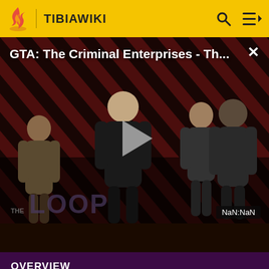TIBIAWIKI
[Figure (screenshot): Video thumbnail for GTA: The Criminal Enterprises - Th... showing characters on a diagonal red/black striped background with THE LOOP text overlay and a play button. NaN:NaN time display at bottom right.]
OVERVIEW
What is Fandom?
Terms of Use
About
Privacy Policy
Careers
Global Sitemap